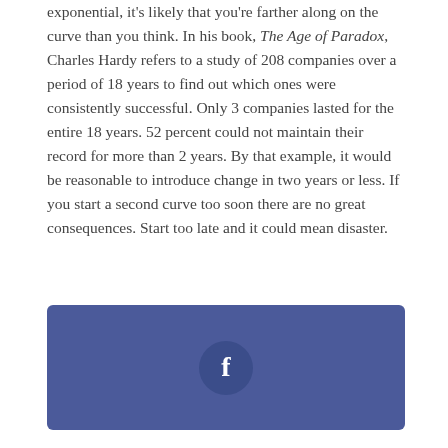exponential, it's likely that you're farther along on the curve than you think. In his book, The Age of Paradox, Charles Hardy refers to a study of 208 companies over a period of 18 years to find out which ones were consistently successful. Only 3 companies lasted for the entire 18 years. 52 percent could not maintain their record for more than 2 years. By that example, it would be reasonable to introduce change in two years or less. If you start a second curve too soon there are no great consequences. Start too late and it could mean disaster.
[Figure (logo): Facebook share button — a rounded rectangle with a blue background containing a circle with the Facebook 'f' logo in white]